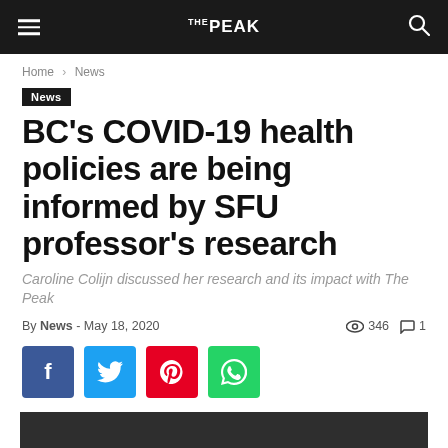THE PEAK
Home › News
News
BC's COVID-19 health policies are being informed by SFU professor's research
Caroline Colijn discussed her research and its impact with The Peak
By News - May 18, 2020   346   1
[Figure (other): Social share buttons: Facebook, Twitter, Pinterest, WhatsApp]
[Figure (photo): Dark/grey image placeholder at bottom of page]